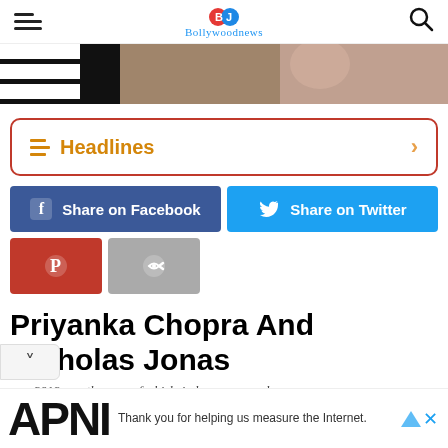Bollywoodnews
[Figure (photo): Partial hero image showing a woman in a floral outfit against a dark striped background]
Headlines
Share on Facebook
Share on Twitter
Priyanka Chopra And Nicholas Jonas
...er 2018 was the year of whirlwind romance and...
Thank you for helping us measure the Internet.